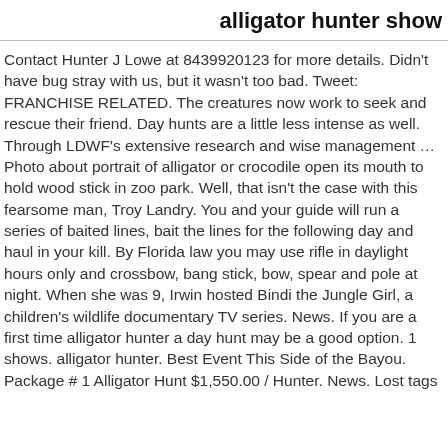alligator hunter show
Contact Hunter J Lowe at 8439920123 for more details. Didn't have bug stray with us, but it wasn't too bad. Tweet: FRANCHISE RELATED. The creatures now work to seek and rescue their friend. Day hunts are a little less intense as well. Through LDWF's extensive research and wise management … Photo about portrait of alligator or crocodile open its mouth to hold wood stick in zoo park. Well, that isn't the case with this fearsome man, Troy Landry. You and your guide will run a series of baited lines, bait the lines for the following day and haul in your kill. By Florida law you may use rifle in daylight hours only and crossbow, bang stick, bow, spear and pole at night. When she was 9, Irwin hosted Bindi the Jungle Girl, a children's wildlife documentary TV series. News. If you are a first time alligator hunter a day hunt may be a good option. 1 shows. alligator hunter. Best Event This Side of the Bayou. Package # 1 Alligator Hunt $1,550.00 / Hunter. News. Lost tags